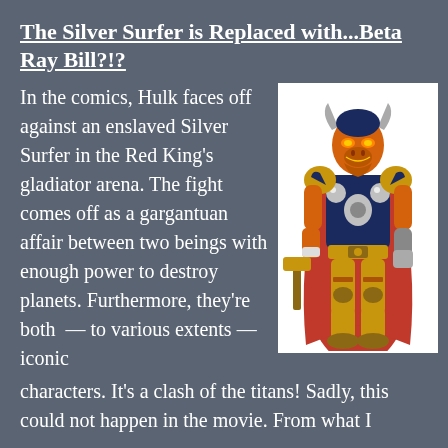The Silver Surfer is Replaced with...Beta Ray Bill?!?
In the comics, Hulk faces off against an enslaved Silver Surfer in the Red King's gladiator arena. The fight comes off as a gargantuan affair between two beings with enough power to destroy planets. Furthermore, they're both — to various extents — iconic characters. It's a clash of the titans! Sadly, this could not happen in the movie. From what I
[Figure (illustration): Illustration of Beta Ray Bill, a Marvel Comics character: an alien humanoid with an orange horse-like skull face, wearing golden armor, a dark blue chest piece with silver orbs, a red cape, and holding a hammer. He has winged helmet and detailed golden leg armor.]